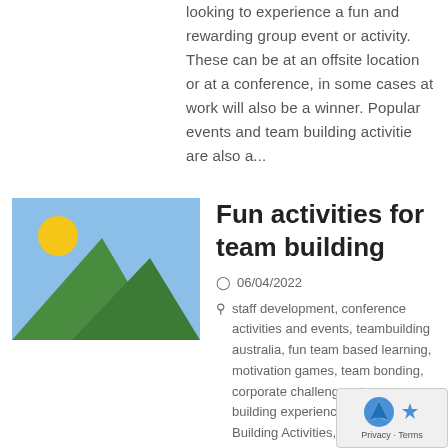looking to experience a fun and rewarding group event or activity. These can be at an offsite location or at a conference, in some cases at work will also be a winner. Popular events and team building activitie are also a...
[Figure (illustration): Placeholder image thumbnail with light blue sky background, yellow sun in upper left, and two green mountain triangles in the foreground.]
Fun activities for team building
06/04/2022
staff development, conference activities and events, teambuilding australia, fun team based learning, motivation games, team bonding, corporate challenges, team building experiences, team Building Activities, free team-building ideas, Team